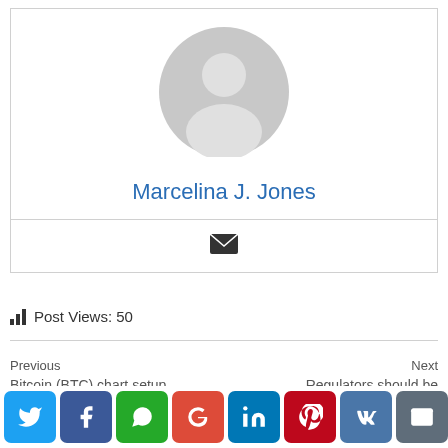[Figure (illustration): Generic user avatar - grey circle with person silhouette]
Marcelina J. Jones
[Figure (illustration): Email envelope icon]
Post Views: 50
Previous
Bitcoin (BTC) chart setup
Next
Regulators should be